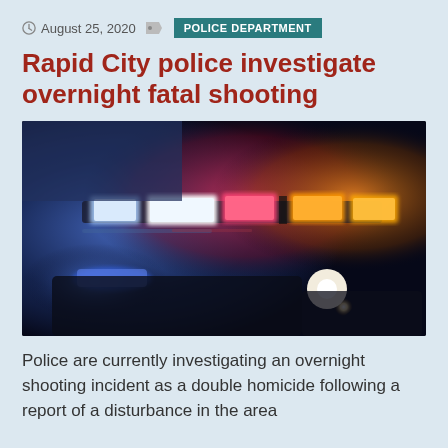August 25, 2020  POLICE DEPARTMENT
Rapid City police investigate overnight fatal shooting
[Figure (photo): Nighttime photo of police car emergency lights — blue, red, pink, and amber/orange flashing lights on top of a police vehicle, with a bright headlight visible in the lower right. Dark moody scene with bokeh-style light streaks.]
Police are currently investigating an overnight shooting incident as a double homicide following a report of a disturbance in the area